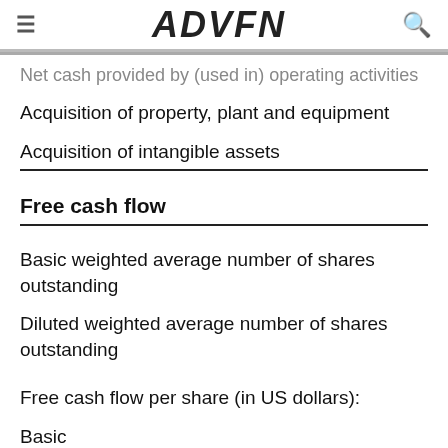ADVFN
Net cash provided by (used in) operating activities
Acquisition of property, plant and equipment
Acquisition of intangible assets
Free cash flow
Basic weighted average number of shares outstanding
Diluted weighted average number of shares outstanding
Free cash flow per share (in US dollars):
Basic
Diluted